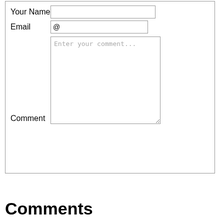[Figure (screenshot): Web form with fields: Your Name (text input), Email (email input with @ symbol), Comment (textarea with placeholder 'Enter your comment...'), and a Submit button]
Comments
Unique visitors
461 Visitors
Report page
Report website
Contact Us